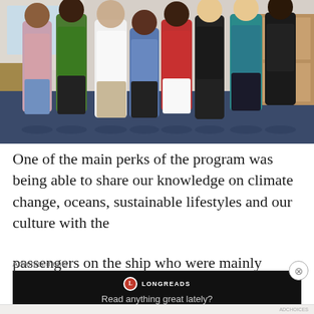[Figure (photo): Group photo of approximately 8 people of diverse backgrounds standing together indoors on what appears to be a ship or vessel, with blue carpet flooring and wooden furnishings visible. People are dressed casually in summerwear.]
One of the main perks of the program was being able to share our knowledge on climate change, oceans, sustainable lifestyles and our culture with the passengers on the ship who were mainly Japanese and
Advertisements
[Figure (screenshot): Advertisement banner for Longreads with logo (red circle with L) and tagline 'Read anything great lately?' on a black background.]